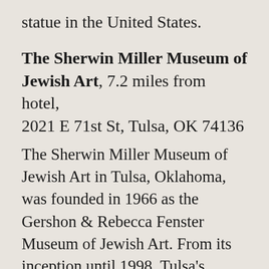statue in the United States.
The Sherwin Miller Museum of Jewish Art, 7.2 miles from hotel, 2021 E 71st St, Tulsa, OK 74136
The Sherwin Miller Museum of Jewish Art in Tulsa, Oklahoma, was founded in 1966 as the Gershon & Rebecca Fenster Museum of Jewish Art. From its inception until 1998, Tulsa's Congregation B'nai Emunah Synagogue housed the museum. Sherwin Miller was the museum's first curator.